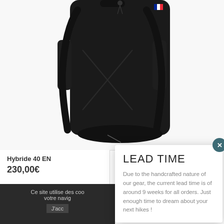[Figure (photo): Black backpack (Hybride 40) photographed against a white background, showing the back/front view with straps and cross stitching details]
Hybride 40 EN
230,00€
Ce site utilise des coo
votre navig
J'acc
LEAD TIME
Due to the handcrafted nature of our gear, the current lead time is of around 9 weeks for all orders. Just enough time to dream about your next hikes !